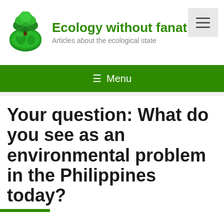[Figure (logo): Green globe with a tree on top logo for Ecology without fanaticism website]
Ecology without fanat…
Articles about the ecological state
[Figure (other): Hamburger menu icon button (three horizontal lines) on grey background]
≡ Menu
Your question: What do you see as an environmental problem in the Philippines today?